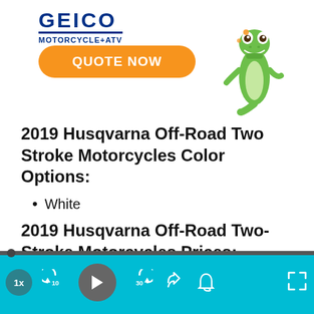[Figure (illustration): GEICO Motorcycle+ATV advertisement banner with orange 'QUOTE NOW' button and GEICO gecko mascot illustration]
2019 Husqvarna Off-Road Two Stroke Motorcycles Color Options:
White
2019 Husqvarna Off-Road Two-Stroke Motorcycles Prices:
[Figure (screenshot): Audio/video media player control bar with teal background, progress bar, playback controls (1x speed, rewind 10s, play, forward 30s, share, notification bell, fullscreen)]